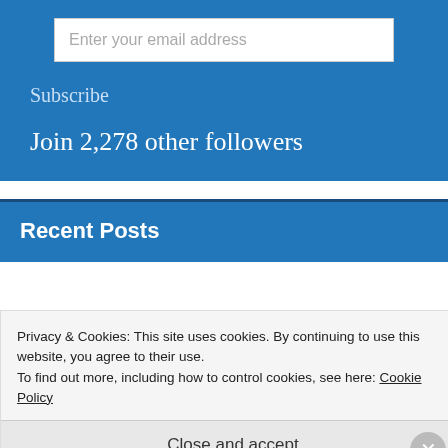Enter your email address
Subscribe
Join 2,278 other followers
Recent Posts
Privacy & Cookies: This site uses cookies. By continuing to use this website, you agree to their use.
To find out more, including how to control cookies, see here: Cookie Policy
Close and accept